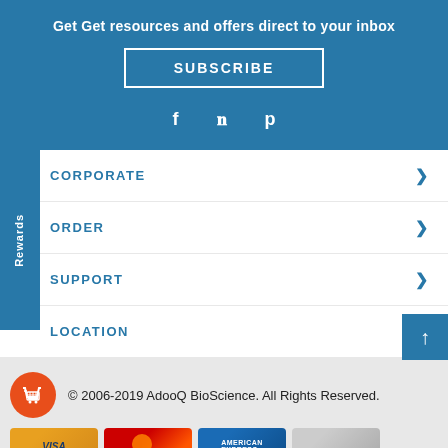Get Get resources and offers direct to your inbox
SUBSCRIBE
CORPORATE
ORDER
SUPPORT
LOCATION
© 2006-2019 AdooQ BioScience. All Rights Reserved.